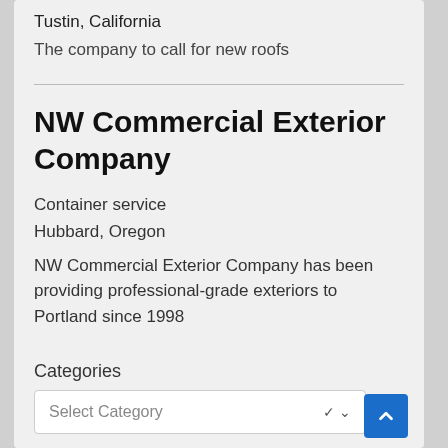Tustin, California
The company to call for new roofs
NW Commercial Exterior Company
Container service
Hubbard, Oregon
NW Commercial Exterior Company has been providing professional-grade exteriors to Portland since 1998
Categories
Select Category